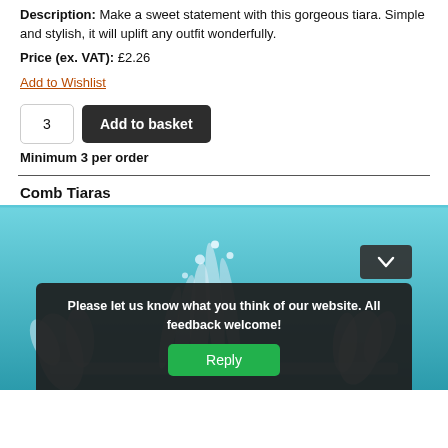Description: Make a sweet statement with this gorgeous tiara. Simple and stylish, it will uplift any outfit wonderfully.
Price (ex. VAT): £2.26
Add to Wishlist
Minimum 3 per order
Comb Tiaras
[Figure (photo): Photo of a crystal/rhinestone comb tiara against a blue background, with a feedback overlay popup containing text and a Reply button.]
Please let us know what you think of our website. All feedback welcome!